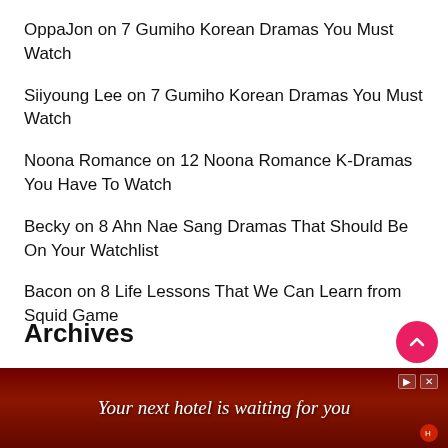OppaJon on 7 Gumiho Korean Dramas You Must Watch
Siiyoung Lee on 7 Gumiho Korean Dramas You Must Watch
Noona Romance on 12 Noona Romance K-Dramas You Have To Watch
Becky on 8 Ahn Nae Sang Dramas That Should Be On Your Watchlist
Bacon on 8 Life Lessons That We Can Learn from Squid Game
Archives
July 2022
[Figure (screenshot): Advertisement banner: 'Your next hotel is waiting for you' with dark red/brown background showing a city landscape]